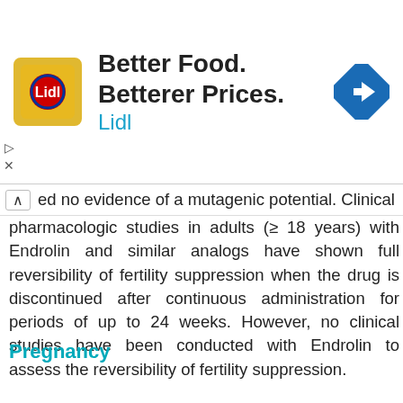[Figure (other): Lidl advertisement banner with logo, 'Better Food. Betterer Prices.' text, and navigation icon]
ed no evidence of a mutagenic potential. Clinical and pharmacologic studies in adults (≥ 18 years) with Endrolin and similar analogs have shown full reversibility of fertility suppression when the drug is discontinued after continuous administration for periods of up to 24 weeks. However, no clinical studies have been conducted with Endrolin to assess the reversibility of fertility suppression.
Pregnancy
Teratogenic Effects
Pregnancy Category X
When administered on day 6 of pregnancy at test dosages of